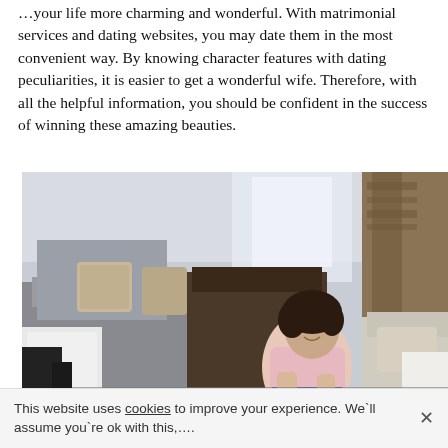services and dating websites, you may date them in the most convenient way. By knowing character features with dating peculiarities, it is easier to get a wonderful wife. Therefore, with all the helpful information, you should be confident in the success of winning these amazing beauties.
[Figure (photo): A young woman sitting on the floor in a living room, smiling at her smartphone. There are sofas and cushions in the background.]
This website uses cookies to improve your experience. We`ll assume you`re ok with this,….